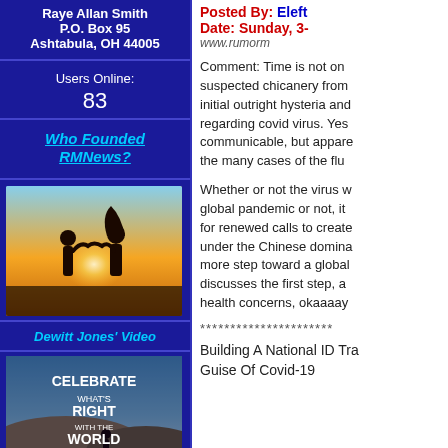Raye Allan Smith
P.O. Box 95
Ashtabula, OH 44005
Users Online:
83
Who Founded RMNews?
[Figure (photo): Silhouette of two children making a heart shape with their hands against a sunset sky]
Dewitt Jones' Video
[Figure (photo): Movie/video poster: CELEBRATE WHAT'S RIGHT WITH THE WORLD, showing a person on a hillside]
Posted By: Eleft
Date: Sunday, 3-
www.rumorm
Comment: Time is not on suspected chicanery from initial outright hysteria and regarding covid virus. Yes communicable, but appare the many cases of the flu
Whether or not the virus w global pandemic or not, it for renewed calls to create under the Chinese domina more step toward a global discusses the first step, a health concerns, okaaaay
**********************
Building A National ID Tra Guise Of Covid-19